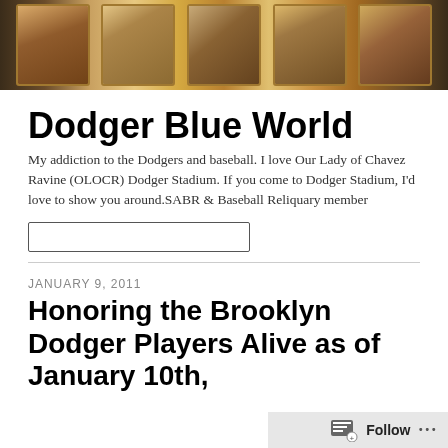[Figure (photo): Header banner showing a row of vintage Brooklyn Dodgers baseball player cards with warm sepia/golden tones]
Dodger Blue World
My addiction to the Dodgers and baseball. I love Our Lady of Chavez Ravine (OLOCR) Dodger Stadium. If you come to Dodger Stadium, I'd love to show you around.SABR & Baseball Reliquary member
JANUARY 9, 2011
Honoring the Brooklyn Dodger Players Alive as of January 10th,